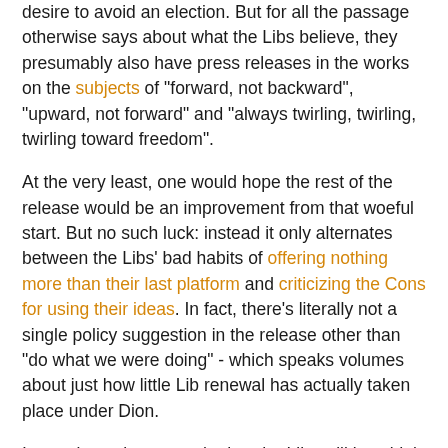desire to avoid an election. But for all the passage otherwise says about what the Libs believe, they presumably also have press releases in the works on the subjects of "forward, not backward", "upward, not forward" and "always twirling, twirling, twirling toward freedom".
At the very least, one would hope the rest of the release would be an improvement from that woeful start. But no such luck: instead it only alternates between the Libs' bad habits of offering nothing more than their last platform and criticizing the Cons for using their ideas. In fact, there's literally not a single policy suggestion in the release other than "do what we were doing" - which speaks volumes about just how little Lib renewal has actually taken place under Dion.
It remains to be seen whether the Libs will be widely called on their lack of anything useful to offer - or how long it'll take for them to develop some substance under Dion. But if they plan on being this useless for long, the NDP has all the more reason to think it can become the strongest alternative to continued Harper government far sooner than most would anticipate.